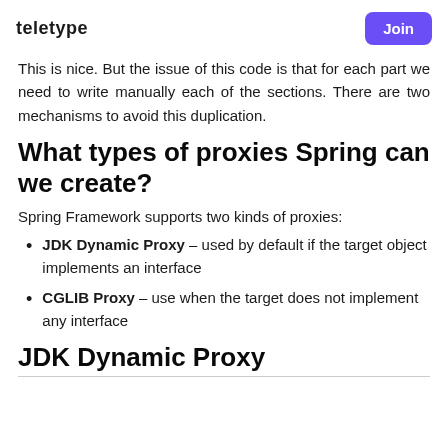teletype
This is nice. But the issue of this code is that for each part we need to write manually each of the sections. There are two mechanisms to avoid this duplication.
What types of proxies Spring can we create?
Spring Framework supports two kinds of proxies:
JDK Dynamic Proxy – used by default if the target object implements an interface
CGLIB Proxy – use when the target does not implement any interface
JDK Dynamic Proxy